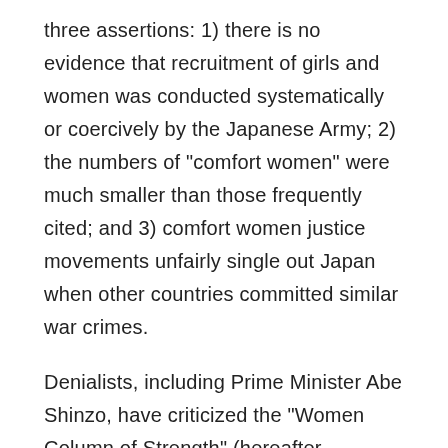three assertions: 1) there is no evidence that recruitment of girls and women was conducted systematically or coercively by the Japanese Army; 2) the numbers of "comfort women" were much smaller than those frequently cited; and 3) comfort women justice movements unfairly single out Japan when other countries committed similar war crimes.
Denialists, including Prime Minister Abe Shinzo, have criticized the "Women Column of Strength" (hereafter, Comfort Women Memorial) in San Francisco in September 2017 as "deeply regrettable."³ Osaka Mayor Yoshimura Hirofumi conveyed his disappointment in five open letters to the late Mayor Edwin Lee of San